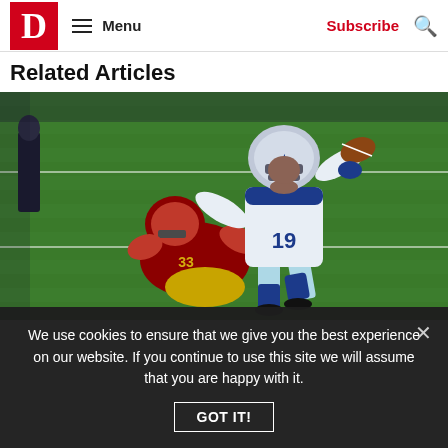D  Menu  Subscribe
Related Articles
[Figure (photo): NFL football action shot: Dallas Cowboys wide receiver #19 in white and blue uniform carrying the ball while a San Francisco 49ers player in red uniform attempts a tackle on a green turf field indoors.]
We use cookies to ensure that we give you the best experience on our website. If you continue to use this site we will assume that you are happy with it.
GOT IT!